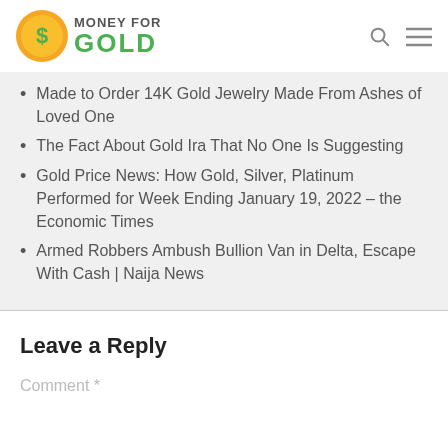MONEY FOR GOLD
Made to Order 14K Gold Jewelry Made From Ashes of Loved One
The Fact About Gold Ira That No One Is Suggesting
Gold Price News: How Gold, Silver, Platinum Performed for Week Ending January 19, 2022 – the Economic Times
Armed Robbers Ambush Bullion Van in Delta, Escape With Cash | Naija News
Leave a Reply
Comment *